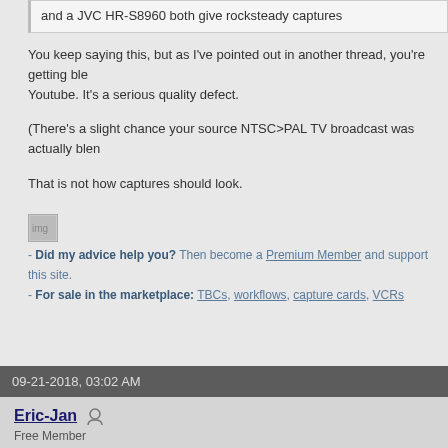and a JVC HR-S8960 both give rocksteady captures
You keep saying this, but as I've pointed out in another thread, you're getting ble... Youtube. It's a serious quality defect.
(There's a slight chance your source NTSC>PAL TV broadcast was actually blen...
That is not how captures should look.
- Did my advice help you? Then become a Premium Member and support this site.
- For sale in the marketplace: TBCs, workflows, capture cards, VCRs
09-21-2018, 03:02 AM
Eric-Jan
Free Member
There are some computer graphics in that scene too, you could be right there, i v...